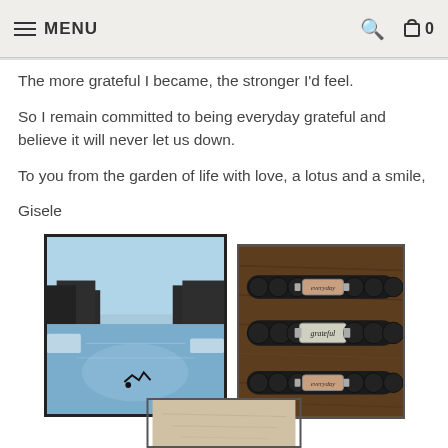MENU
The more grateful I became, the stronger I'd feel.
So I remain committed to being everyday grateful and believe it will never let us down.
To you from the garden of life with love, a lotus and a smile,
Gisele
[Figure (photo): Outdoor photo of a river or waterway with bare trees on the banks and a reflective water surface under a blue sky. A bird or figure silhouette appears near the water.]
[Figure (photo): Three black beaded bracelets stacked on a wooden surface. Each bracelet has a silver/rectangular tag reading 'everyday', 'grateful', and 'everyday'.]
[Figure (photo): Partially visible photo at the bottom of the page, appears to show a light-colored surface with some texture or writing.]